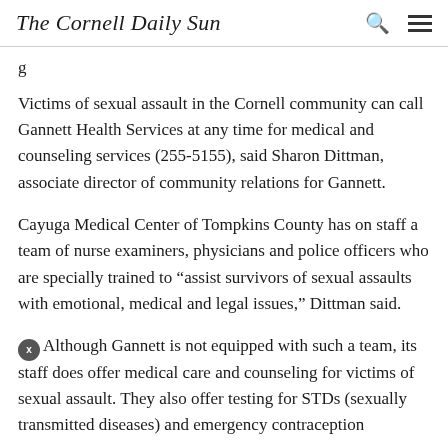The Cornell Daily Sun
g
Victims of sexual assault in the Cornell community can call Gannett Health Services at any time for medical and counseling services (255-5155), said Sharon Dittman, associate director of community relations for Gannett.
Cayuga Medical Center of Tompkins County has on staff a team of nurse examiners, physicians and police officers who are specially trained to “assist survivors of sexual assaults with emotional, medical and legal issues,” Dittman said.
Although Gannett is not equipped with such a team, its staff does offer medical care and counseling for victims of sexual assault. They also offer testing for STDs (sexually transmitted diseases) and emergency contraception